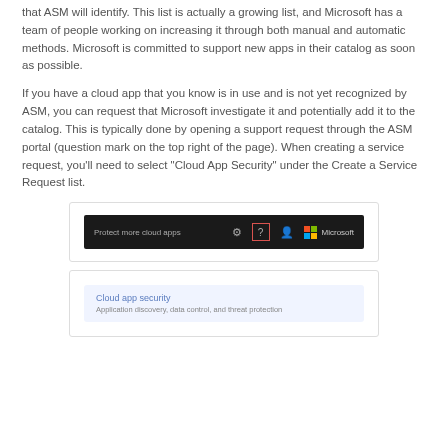that ASM will identify. This list is actually a growing list, and Microsoft has a team of people working on increasing it through both manual and automatic methods. Microsoft is committed to support new apps in their catalog as soon as possible.
If you have a cloud app that you know is in use and is not yet recognized by ASM, you can request that Microsoft investigate it and potentially add it to the catalog. This is typically done by opening a support request through the ASM portal (question mark on the top right of the page). When creating a service request, you'll need to select "Cloud App Security" under the Create a Service Request list.
[Figure (screenshot): Screenshot of ASM portal navigation bar showing 'Protect more cloud apps' text, gear icon, question mark icon (highlighted with red border), user icon, and Microsoft logo with company name on dark background.]
[Figure (screenshot): Screenshot showing 'Cloud app security' menu item in blue with subtitle 'Application discovery, data control, and threat protection' on a light blue background.]